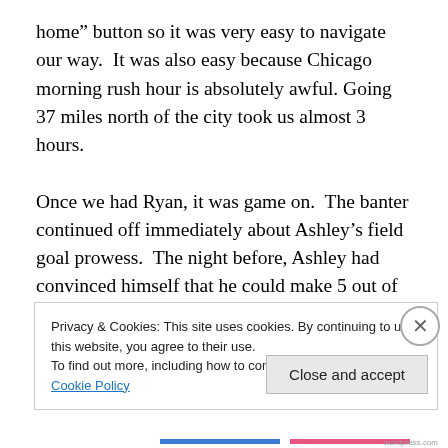home” button so it was very easy to navigate our way.  It was also easy because Chicago morning rush hour is absolutely awful. Going 37 miles north of the city took us almost 3 hours.

Once we had Ryan, it was game on.  The banter continued off immediately about Ashley’s field goal prowess.  The night before, Ashley had convinced himself that he could make 5 out of 10 field goals from 45 yards.  Ryan and I had a plan to test him.  Ryan had a kicking tee, cleats and a football ready upon our arrival.  Our plan was
Privacy & Cookies: This site uses cookies. By continuing to use this website, you agree to their use.
To find out more, including how to control cookies, see here: Cookie Policy
Close and accept